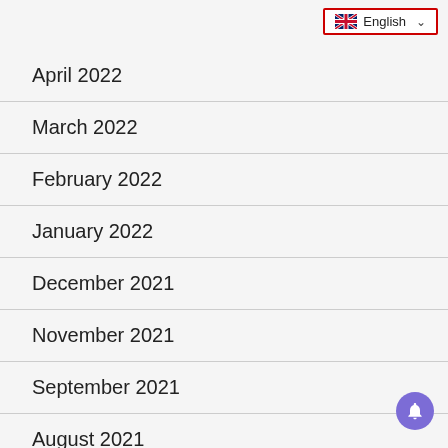[Figure (screenshot): Language selector dropdown button with UK flag icon and 'English' label with chevron, outlined in red border]
April 2022
March 2022
February 2022
January 2022
December 2021
November 2021
September 2021
August 2021
July 2021